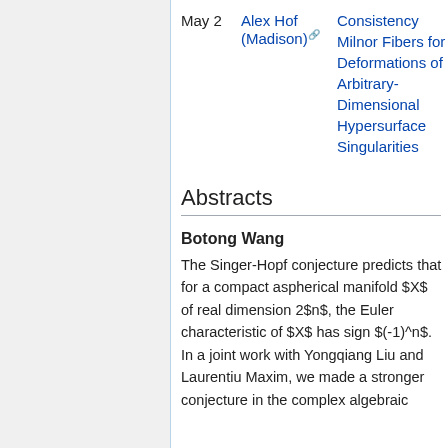| Date | Speaker | Title |
| --- | --- | --- |
| May 2 | Alex Hof (Madison) | Consistency Milnor Fibers for Deformations of Arbitrary-Dimensional Hypersurface Singularities |
Abstracts
Botong Wang
The Singer-Hopf conjecture predicts that for a compact aspherical manifold $X$ of real dimension 2$n$, the Euler characteristic of $X$ has sign $(-1)^n$. In a joint work with Yongqiang Liu and Laurentiu Maxim, we made a stronger conjecture in the complex algebraic